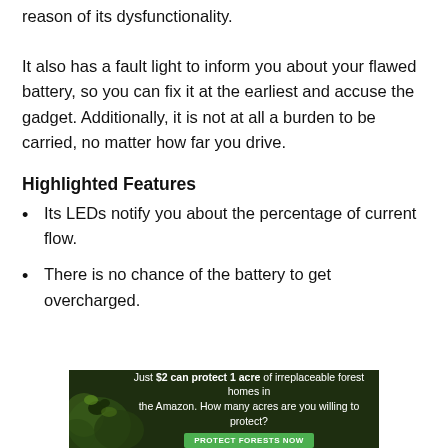reason of its dysfunctionality.
It also has a fault light to inform you about your flawed battery, so you can fix it at the earliest and accuse the gadget. Additionally, it is not at all a burden to be carried, no matter how far you drive.
Highlighted Features
Its LEDs notify you about the percentage of current flow.
There is no chance of the battery to get overcharged.
[Figure (infographic): Advertisement banner: Just $2 can protect 1 acre of irreplaceable forest homes in the Amazon. How many acres are you willing to protect? PROTECT FORESTS NOW button.]